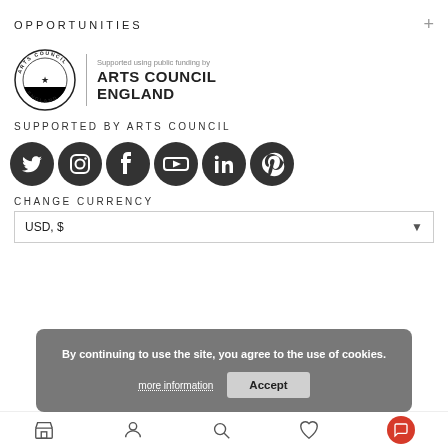OPPORTUNITIES
[Figure (logo): Arts Council England logo — circular badge with 'ARTS COUNCIL ENGLAND' text beside it, with 'Supported using public funding by' above in grey]
SUPPORTED BY ARTS COUNCIL
[Figure (infographic): Row of six social media icons (circular dark): Twitter, Instagram, Facebook, YouTube, LinkedIn, Pinterest]
CHANGE CURRENCY
USD, $
By continuing to use the site, you agree to the use of cookies.
more information
Accept